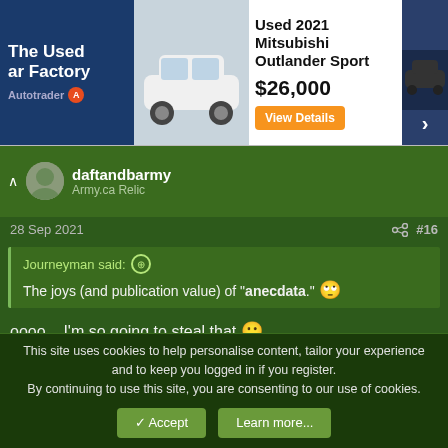[Figure (screenshot): Autotrader ad banner: The Used Car Factory / Autotrader logo on left, white Mitsubishi Outlander Sport in center, text 'Used 2021 Mitsubishi Outlander Sport', price '$26,000', orange 'View Details' button, dark car image on right with arrow.]
daftandbarmy
Army.ca Relic
28 Sep 2021
#16
Journeyman said: ↑
The joys (and publication value) of "anecdata." 🙄
oooo... I'm so going to steal that 🙂
👍 mariomike and dimsum
This site uses cookies to help personalise content, tailor your experience and to keep you logged in if you register.
By continuing to use this site, you are consenting to our use of cookies.
✓ Accept
Learn more...